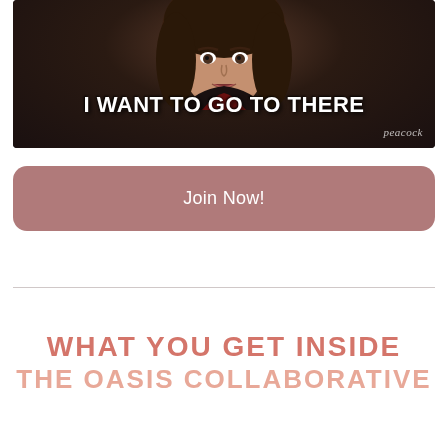[Figure (screenshot): Screenshot from Peacock streaming platform showing a person with curly dark hair speaking, with white bold subtitle text reading 'I WANT TO GO TO THERE' and Peacock logo in bottom right corner]
Join Now!
WHAT YOU GET INSIDE THE OASIS COLLABORATIVE